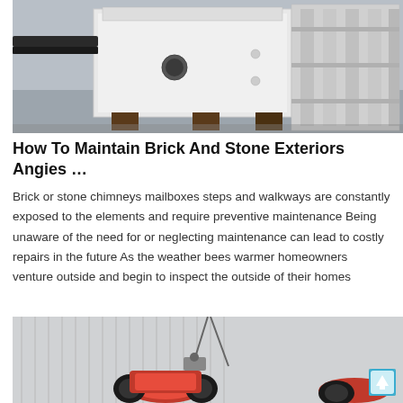[Figure (photo): Photo of a large white industrial machine (crusher/rock breaker) on a workshop floor, with metal framing visible in the background.]
How To Maintain Brick And Stone Exteriors Angies …
Brick or stone chimneys mailboxes steps and walkways are constantly exposed to the elements and require preventive maintenance Being unaware of the need for or neglecting maintenance can lead to costly repairs in the future As the weather bees warmer homeowners venture outside and begin to inspect the outside of their homes
[Figure (photo): Photo of a red industrial machine or roller equipment being lifted by cables, with a corrugated metal building in the background.]